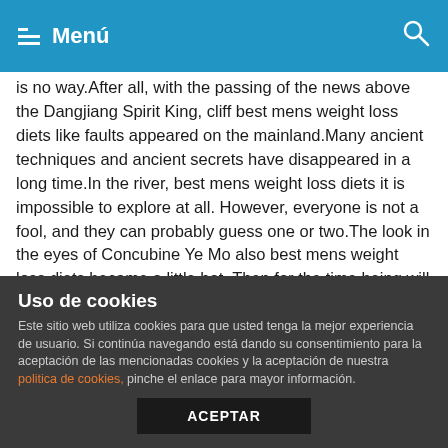Menú
is no way.After all, with the passing of the news above the Dangjiang Spirit King, cliff best mens weight loss diets like faults appeared on the mainland.Many ancient techniques and ancient secrets have disappeared in a long time.In the river, best mens weight loss diets it is impossible to explore at all. However, everyone is not a fool, and they can probably guess one or two.The look in the eyes of Concubine Ye Mo also best mens weight loss diets became a little hot. Then for the time being will she stay Although Fat Long said he best mens weight loss diets was asking, his tone was firm, and he seemed to have made up his mind.Stay. Haiduo and the others also echoed. Afterwards, Shui Wuhuan s healing water fell on Concubine Ye Mo s body, erasing all the injuries she suffered, but she didn best mens weight loss diets t kindly remove those scars for her.After that,
Uso de cookies
Este sitio web utiliza cookies para que usted tenga la mejor experiencia de usuario. Si continúa navegando está dando su consentimiento para la aceptación de las mencionadas cookies y la aceptación de nuestra politica de cookies, pinche el enlace para mayor información.
ACEPTAR